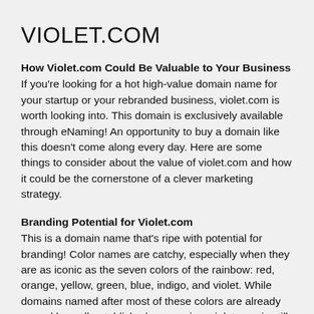VIOLET.COM
How Violet.com Could Be Valuable to Your Business
If you're looking for a hot high-value domain name for your startup or your rebranded business, violet.com is worth looking into. This domain is exclusively available through eNaming! An opportunity to buy a domain like this doesn't come along every day. Here are some things to consider about the value of violet.com and how it could be the cornerstone of a clever marketing strategy.
Branding Potential for Violet.com
This is a domain name that's ripe with potential for branding! Color names are catchy, especially when they are as iconic as the seven colors of the rainbow: red, orange, yellow, green, blue, indigo, and violet. While domains named after most of these colors are already owned by well-established companies, violet.com is still available. The scarcity of spectral color domain